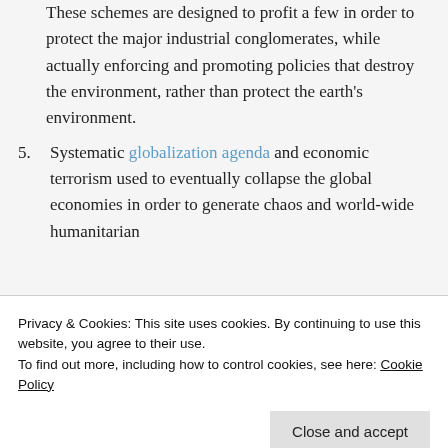These schemes are designed to profit a few in order to protect the major industrial conglomerates, while actually enforcing and promoting policies that destroy the environment, rather than protect the earth's environment.
5. Systematic globalization agenda and economic terrorism used to eventually collapse the global economies in order to generate chaos and world-wide humanitarian
Privacy & Cookies: This site uses cookies. By continuing to use this website, you agree to their use. To find out more, including how to control cookies, see here: Cookie Policy
country, carried out by their own people. The